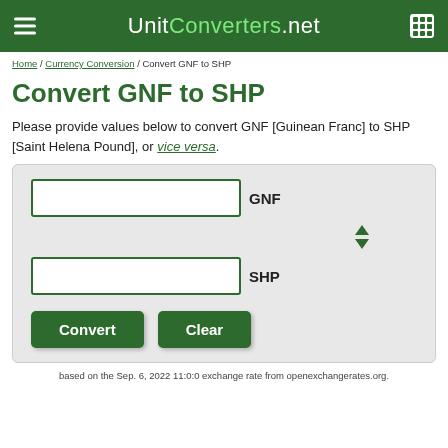UnitConverters.net
Home / Currency Conversion / Convert GNF to SHP
Convert GNF to SHP
Please provide values below to convert GNF [Guinean Franc] to SHP [Saint Helena Pound], or vice versa.
[Figure (screenshot): Currency converter form with two input fields labeled GNF and SHP, a swap arrow, Convert and Clear buttons]
based on the Sep. 6, 2022 11:0:0 exchange rate from openexchangerates.org.